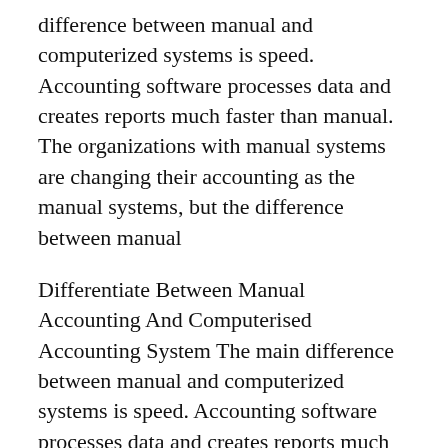difference between manual and computerized systems is speed. Accounting software processes data and creates reports much faster than manual. The organizations with manual systems are changing their accounting as the manual systems, but the difference between manual
Differentiate Between Manual Accounting And Computerised Accounting System The main difference between manual and computerized systems is speed. Accounting software processes data and creates reports much faster than manual. The organizations with manual systems are changing their accounting as the manual systems, but the difference between manual Difference Between Manual File System And